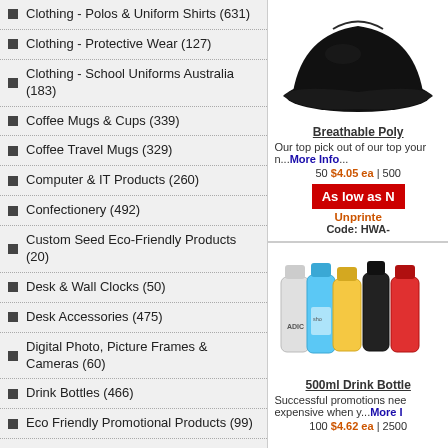Clothing - Polos & Uniform Shirts (631)
Clothing - Protective Wear (127)
Clothing - School Uniforms Australia (183)
Coffee Mugs & Cups (339)
Coffee Travel Mugs (329)
Computer & IT Products (260)
Confectionery (492)
Custom Seed Eco-Friendly Products (20)
Desk & Wall Clocks (50)
Desk Accessories (475)
Digital Photo, Picture Frames & Cameras (60)
Drink Bottles (466)
Eco Friendly Promotional Products (99)
Eskies & Water Jugs (9)
Express Promotional Products (4)
First-Aid & Safety Products (296)
Fun & Novelty (368)
[Figure (photo): Black breathable poly cap/hat product photo]
Breathable Poly
Our top pick out of our top your n...More Info...
50 $4.05 ea | 500
As low as N
Unprinte
Code: HWA-
[Figure (photo): 500ml drink bottles in various colors product photo]
500ml Drink Bottle
Successful promotions nee expensive when y...More I
100 $4.62 ea | 2500